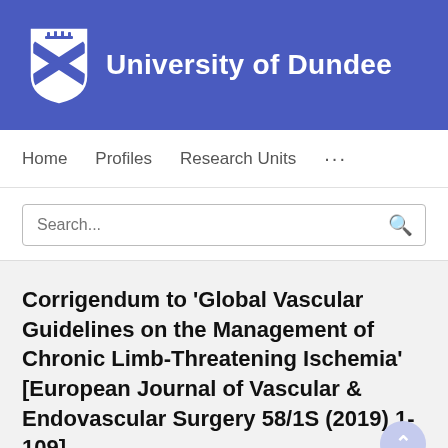[Figure (logo): University of Dundee logo with shield emblem and university name in white text on blue background]
Home   Profiles   Research Units   ...
Search...
Corrigendum to 'Global Vascular Guidelines on the Management of Chronic Limb-Threatening Ischemia' [European Journal of Vascular & Endovascular Surgery 58/1S (2019) 1-109]